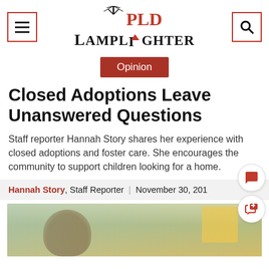PLD Lamplighter
Opinion
Closed Adoptions Leave Unanswered Questions
Staff reporter Hannah Story shares her experience with closed adoptions and foster care. She encourages the community to support children looking for a home.
Hannah Story, Staff Reporter | November 30, 201
[Figure (photo): Partial photo of a child outdoors at a playground, cropped at bottom of page.]